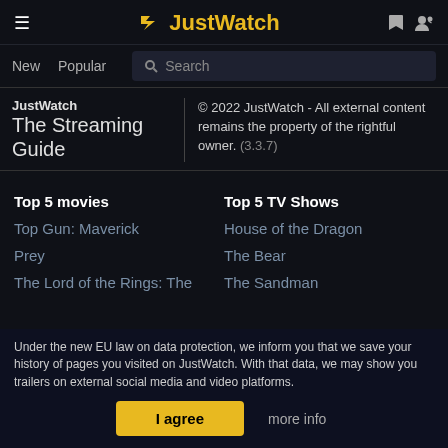JustWatch
New  Popular  Search
JustWatch The Streaming Guide
© 2022 JustWatch - All external content remains the property of the rightful owner. (3.3.7)
Top 5 movies
Top 5 TV Shows
Top Gun: Maverick
House of the Dragon
Prey
The Bear
The Lord of the Rings: The
The Sandman
Under the new EU law on data protection, we inform you that we save your history of pages you visited on JustWatch. With that data, we may show you trailers on external social media and video platforms.
I agree  more info